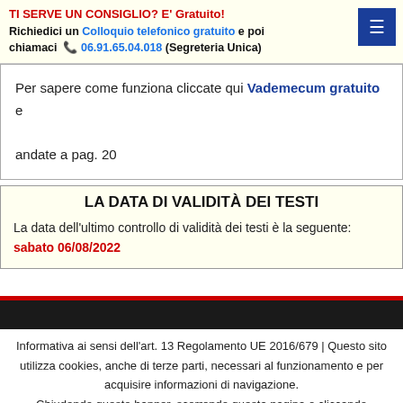TI SERVE UN CONSIGLIO? E' Gratuito! Richiedici un Colloquio telefonico gratuito e poi chiamaci 06.91.65.04.018 (Segreteria Unica)
Per sapere come funziona cliccate qui Vademecum gratuito e andate a pag. 20
LA DATA DI VALIDITÀ DEI TESTI
La data dell'ultimo controllo di validità dei testi è la seguente: sabato 06/08/2022
Informativa ai sensi dell'art. 13 Regolamento UE 2016/679 | Questo sito utilizza cookies, anche di terze parti, necessari al funzionamento e per acquisire informazioni di navigazione. Chiudendo questo banner, scorrendo questa pagina o cliccando qualunque suo elemento acconsenti all'uso dei cookies. Informazioni OK